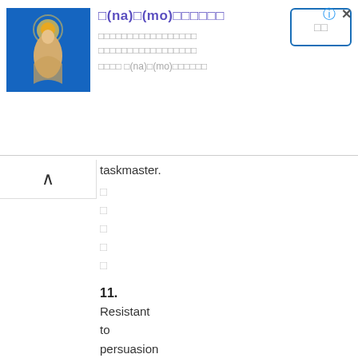[Figure (illustration): Buddhist statue on blue background]
□(na)□(mo)□□□□□□
□□□□□□□□□□□□□□□□□□□□□□□□□□□□□□□□□□□□□□□□□□□□□□ □(na)□(mo)□□□□□□
□□
taskmaster.
□
□
□
□
□
11.
Resistant to persuasion or appeal; obdurate.
□□
□□□
□□□
□□□